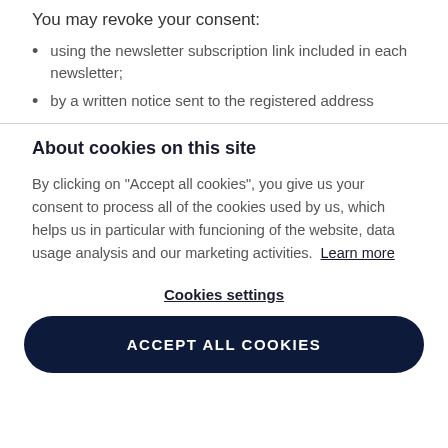You may revoke your consent:
using the newsletter subscription link included in each newsletter;
by a written notice sent to the registered address
About cookies on this site
By clicking on "Accept all cookies", you give us your consent to process all of the cookies used by us, which helps us in particular with funcioning of the website, data usage analysis and our marketing activities.  Learn more
Cookies settings
ACCEPT ALL COOKIES